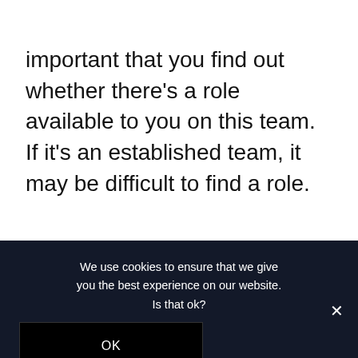important that you find out whether there's a role available to you on this team. If it's an established team, it may be difficult to find a role.
We use cookies to ensure that we give you the best experience on our website. Is that ok?
OK
NO
PRIVACY POLICY
Chat with Spiders Elite Youth Base...
Hi! How can we help you?